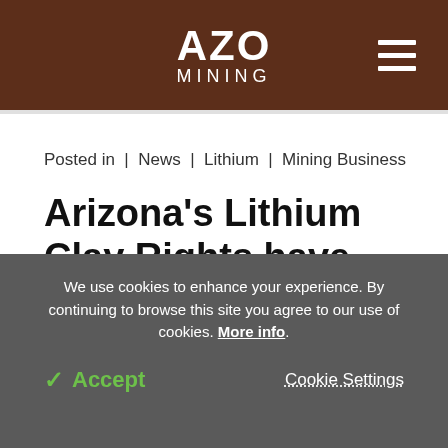AZO MINING
Posted in | News | Lithium | Mining Business
Arizona's Lithium Clay Rights have been Awarded
We use cookies to enhance your experience. By continuing to browse this site you agree to our use of cookies. More info.
Accept | Cookie Settings